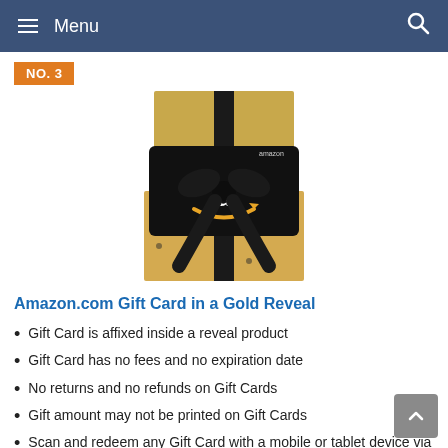Menu
NO. 3
[Figure (photo): Amazon.com Gift Card in a Gold Reveal box with black ribbon and bow]
Amazon.com Gift Card in a Gold Reveal
Gift Card is affixed inside a reveal product
Gift Card has no fees and no expiration date
No returns and no refunds on Gift Cards
Gift amount may not be printed on Gift Cards
Scan and redeem any Gift Card with a mobile or tablet device via the Amazon App